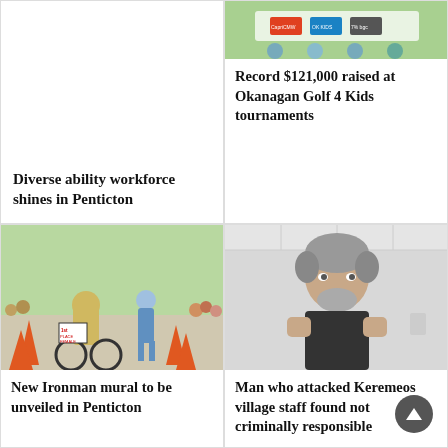Diverse ability workforce shines in Penticton
[Figure (photo): Photo of people at Okanagan Golf 4 Kids event holding a banner with sponsor logos]
Record $121,000 raised at Okanagan Golf 4 Kids tournaments
[Figure (photo): Photo of triathlon participants cycling and running in a race with orange traffic cones and spectators]
New Ironman mural to be unveiled in Penticton
[Figure (photo): Photo of a man with grey beard in fighting stance indoors]
Man who attacked Keremeos village staff found not criminally responsible